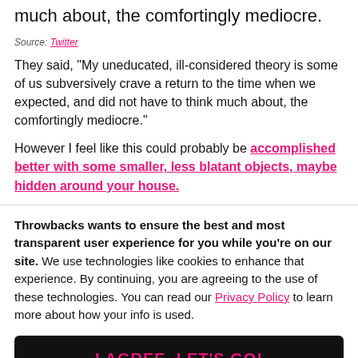much about, the comfortingly mediocre.
Source: Twitter
They said, "My uneducated, ill-considered theory is some of us subversively crave a return to the time when we expected, and did not have to think much about, the comfortingly mediocre."
However I feel like this could probably be accomplished better with some smaller, less blatant objects, maybe hidden around your house.
Throwbacks wants to ensure the best and most transparent user experience for you while you're on our site. We use technologies like cookies to enhance that experience. By continuing, you are agreeing to the use of these technologies. You can read our Privacy Policy to learn more about how your info is used.
I AGREE, LET'S GO!